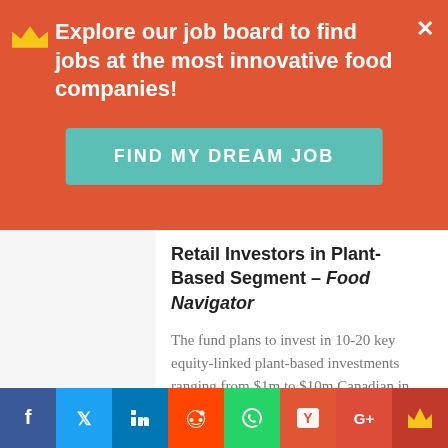Explore our job board to find jobs at the most innovative food companies!
FIND MY DREAM JOB
Retail Investors in Plant-Based Segment – Food Navigator
The fund plans to invest in 10-20 key equity-linked plant-based investments ranging from $1m to $10m Canadian in the next four years with a minimum ownership goal of 5%.
5. Grocery CPG Trends To Watch In 2020 – CB Insights
Fifteen emerging trends in food, beverage and
f  Twitter  in  Reddit  WhatsApp  Y  G+  Crown